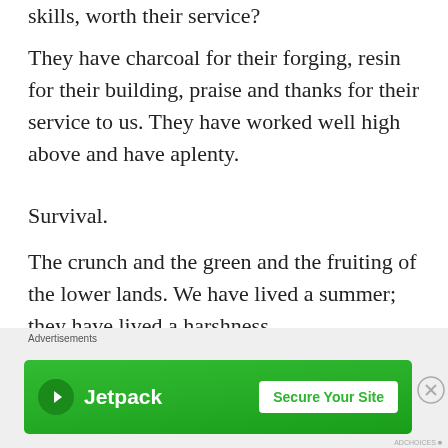skills, worth their service?
They have charcoal for their forging, resin for their building, praise and thanks for their service to us. They have worked well high above and have aplenty.
Survival.
The crunch and the green and the fruiting of the lower lands. We have lived a summer; they have lived a harshness.
We have a year’s worth of preserves for them. Some
[Figure (infographic): Jetpack advertisement banner with green background, Jetpack logo and icon on the left, and 'Secure Your Site' button on the right. Labeled 'Advertisements' above.]